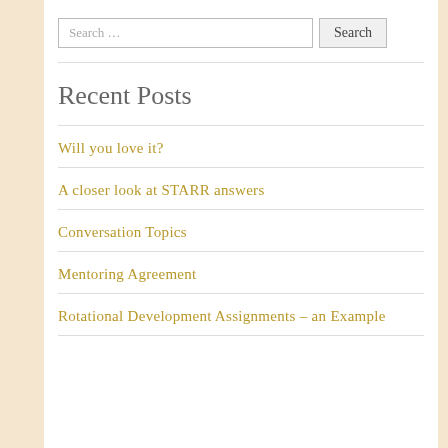Search …
Recent Posts
Will you love it?
A closer look at STARR answers
Conversation Topics
Mentoring Agreement
Rotational Development Assignments – an Example